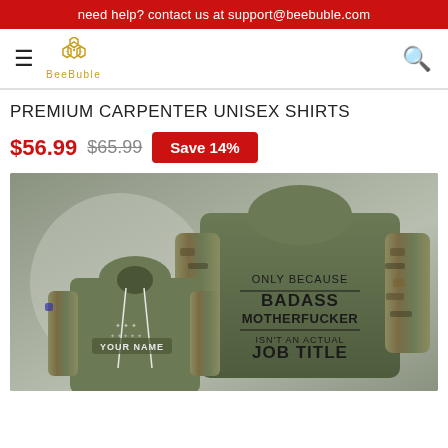need help? contact us at support@beebuble.com
[Figure (logo): BeeBuble logo with honeycomb icon and text 'BeeBuble']
PREMIUM CARPENTER UNISEX SHIRTS
$56.99  $65.99  Save 14%
[Figure (photo): Product photo showing two olive/camo hoodies. The back of the larger hoodie reads: ONLY BECAUSE BADASS MOTHERFUCKER ISN'T AN ACTUAL JOB TITLE. The front of a smaller hoodie shows 'YOUR NAME' text and decorative print. Both hoodies have camouflage patterned sleeves.]